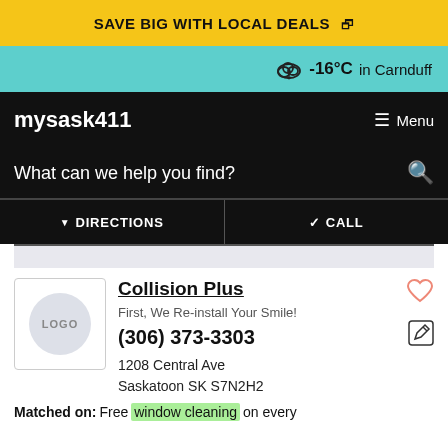SAVE BIG WITH LOCAL DEALS
-16°C in Carnduff
mysask411 Menu
What can we help you find?
DIRECTIONS  CALL
Collision Plus
First, We Re-install Your Smile!
(306) 373-3303
1208 Central Ave
Saskatoon SK S7N2H2
Matched on: Free window cleaning on every